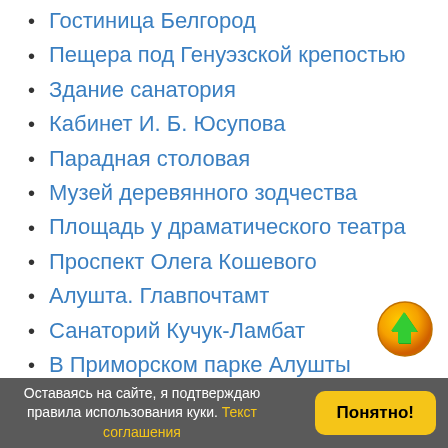Гостиница Белгород
Пещера под Генуэзской крепостью
Здание санатория
Кабинет И. Б. Юсупова
Парадная столовая
Музей деревянного зодчества
Площадь у драматического театра
Проспект Олега Кошевого
Алушта. Главпочтамт
Санаторий Кучук-Ламбат
В Приморском парке Алушты
Туристический лагерь Юность
Пансионат Алушта
Обелиск и стелла в честь алуштинцев
[Figure (other): Orange circular up-arrow button]
Оставаясь на сайте, я подтверждаю правила использования куки. Текст соглашения  Понятно!